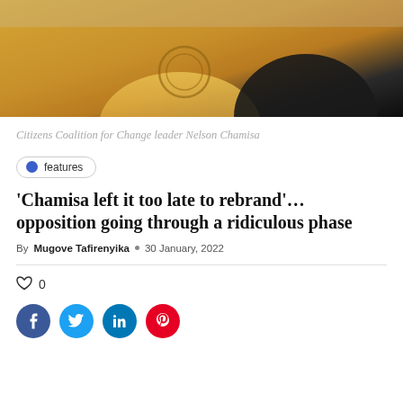[Figure (photo): Citizens Coalition for Change leader Nelson Chamisa, wearing a yellow outfit with decorative circular pattern, seated or standing near a dark background.]
Citizens Coalition for Change leader Nelson Chamisa
features
'Chamisa left it too late to rebrand'… opposition going through a ridiculous phase
By Mugove Tafirenyika  30 January, 2022
0
[Figure (infographic): Social media share buttons: Facebook (blue), Twitter (light blue), LinkedIn (blue), Pinterest (red)]